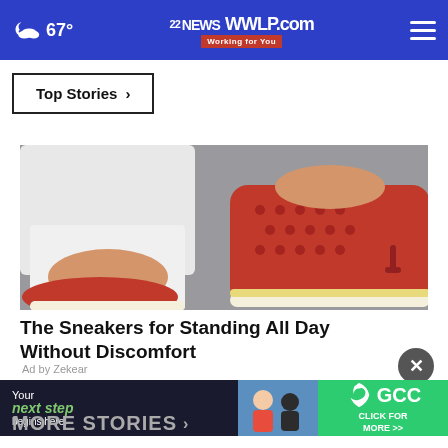67° | 22NEWS WWLP.com Working for You
Top Stories ›
[Figure (photo): Close-up photo of a person wearing red suede perforated sneakers with white soles and tassels, with white pants rolled up at the ankle, on a grey pavement background.]
The Sneakers for Standing All Day Without Discomfort
Ad by Zekear
[Figure (infographic): GCC banner advertisement: 'Your next step begins here! CLICK FOR MORE >>' with a green background and GCC logo, and a photo of students on the left side.]
MORE STORIES ›